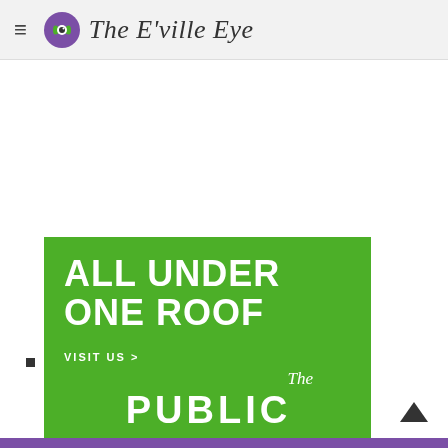≡  The E'ville Eye
[Figure (illustration): Green advertisement banner reading 'ALL UNDER ONE ROOF' with 'VISIT US >' and 'The PUBLIC' branding below on a bright green background]
Purple bottom strip with up arrow navigation